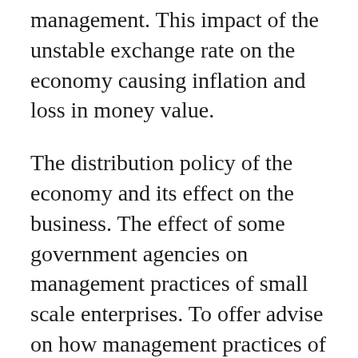management. This impact of the unstable exchange rate on the economy causing inflation and loss in money value.
The distribution policy of the economy and its effect on the business. The effect of some government agencies on management practices of small scale enterprises. To offer advise on how management practices of small scale enterprises could increase its profit and also how it can survive by procuring enough funds, through marketing activities necessitate this study.